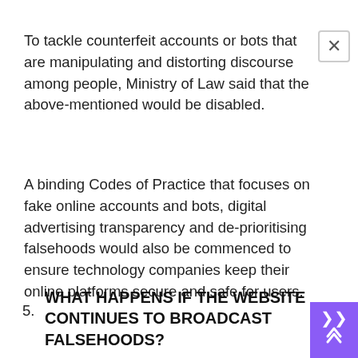To tackle counterfeit accounts or bots that are manipulating and distorting discourse among people, Ministry of Law said that the above-mentioned would be disabled.
A binding Codes of Practice that focuses on fake online accounts and bots, digital advertising transparency and de-prioritising falsehoods would also be commenced to ensure technology companies keep their online platforms secure and safe for users.
5. WHAT HAPPENS IF THE WEBSITE CONTINUES TO BROADCAST FALSEHOODS?